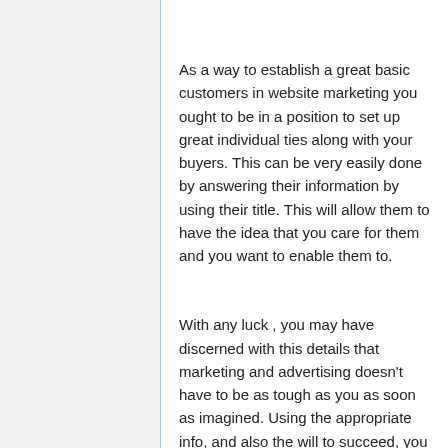As a way to establish a great basic customers in website marketing you ought to be in a position to set up great individual ties along with your buyers. This can be very easily done by answering their information by using their title. This will allow them to have the idea that you care for them and you want to enable them to.
With any luck , you may have discerned with this details that marketing and advertising doesn't have to be as tough as you as soon as imagined. Using the appropriate info, and also the will to succeed, you can move from a fresh start-as much as a successful business